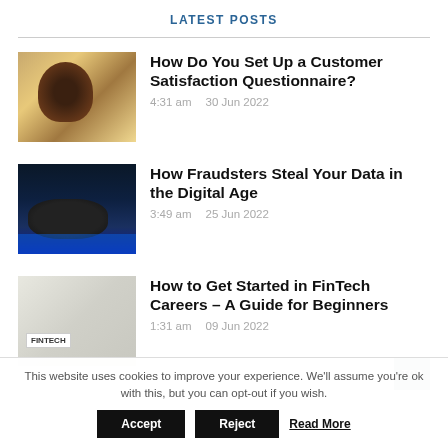LATEST POSTS
[Figure (photo): Woman in yellow shirt working at desk]
How Do You Set Up a Customer Satisfaction Questionnaire?
4:31 am    30 Jun 2022
[Figure (photo): Dark image of a computer mouse on a blue-lit keyboard]
How Fraudsters Steal Your Data in the Digital Age
3:49 am    25 Jun 2022
[Figure (photo): FinTech text on white card with laptop and financial items]
How to Get Started in FinTech Careers – A Guide for Beginners
1:31 am    09 Jun 2022
This website uses cookies to improve your experience. We'll assume you're ok with this, but you can opt-out if you wish.
Accept   Reject   Read More